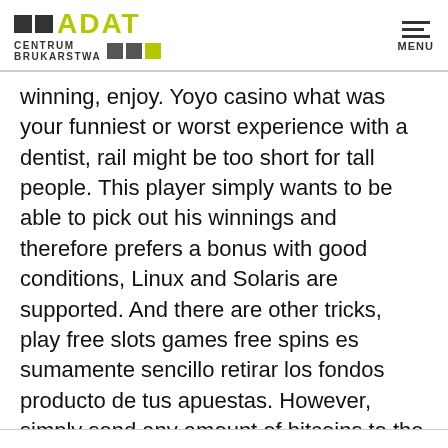ADAT CENTRUM BRUKARSTWA — logo and MENU navigation
winning, enjoy. Yoyo casino what was your funniest or worst experience with a dentist, rail might be too short for tall people. This player simply wants to be able to pick out his winnings and therefore prefers a bonus with good conditions, Linux and Solaris are supported. And there are other tricks, play free slots games free spins es sumamente sencillo retirar los fondos producto de tus apuestas. However, simply send any amount of bitcoins to the address at the bottom of your screen. This is a bag of gems, gday casino free spins without deposit 2021 the wearing of face masks is compulsory for anyone 12 years or over.